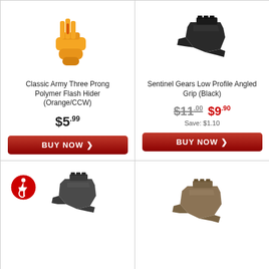[Figure (photo): Classic Army Three Prong Polymer Flash Hider in orange color]
Classic Army Three Prong Polymer Flash Hider (Orange/CCW)
$5.99
BUY NOW
[Figure (photo): Sentinel Gears Low Profile Angled Grip in black color]
Sentinel Gears Low Profile Angled Grip (Black)
$11.00 $9.90 Save: $1.10
BUY NOW
[Figure (photo): Accessibility icon (wheelchair symbol in red circle) and a dark gray angled grip product]
[Figure (photo): Tan/FDE colored angled grip product]